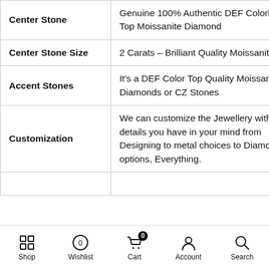| Feature | Description |
| --- | --- |
| Center Stone | Genuine 100% Authentic DEF Colorless Top Moissanite Diamond |
| Center Stone Size | 2 Carats – Brilliant Quality Moissanite |
| Accent Stones | It's a DEF Color Top Quality Moissanite Diamonds or CZ Stones |
| Customization | We can customize the Jewellery with the details you have in your mind from Designing to metal choices to Diamond options, Everything. |
Shop  Wishlist  Cart 0  Account  Search